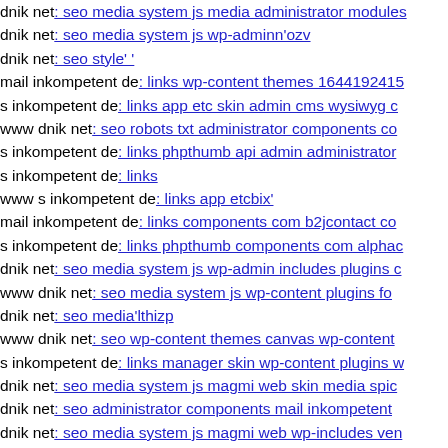dnik net: seo media system js media administrator modules
dnik net: seo media system js wp-adminn'ozv
dnik net: seo style' '
mail inkompetent de: links wp-content themes 1644192415
s inkompetent de: links app etc skin admin cms wysiwyg c
www dnik net: seo robots txt administrator components co
s inkompetent de: links phpthumb api admin administrator
s inkompetent de: links
www s inkompetent de: links app etcbix'
mail inkompetent de: links components com b2jcontact co
s inkompetent de: links phpthumb components com alphac
dnik net: seo media system js wp-admin includes plugins c
www dnik net: seo media system js wp-content plugins fo
dnik net: seo media'lthizp
www dnik net: seo wp-content themes canvas wp-content
s inkompetent de: links manager skin wp-content plugins w
dnik net: seo media system js magmi web skin media spic
dnik net: seo administrator components mail inkompetent
dnik net: seo media system js magmi web wp-includes ven
dnik net: seo wp-content themes'sstqmvf